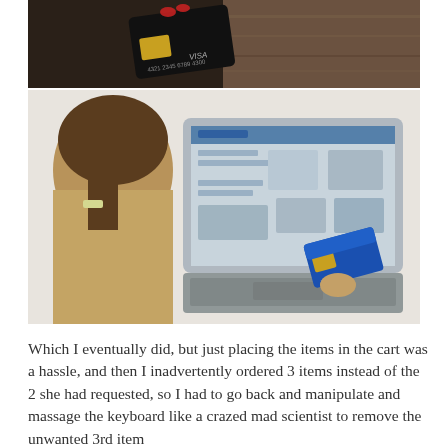[Figure (photo): Two stacked photos: top photo shows a woman's hand with red fingernails holding a black credit card (Visa) over a wooden table; bottom photo shows a woman from behind using a laptop computer while holding a blue credit card.]
Which I eventually did, but just placing the items in the cart was a hassle, and then I inadvertently ordered 3 items instead of the 2 she had requested, so I had to go back and manipulate and massage the keyboard like a crazed mad scientist to remove the unwanted 3rd item